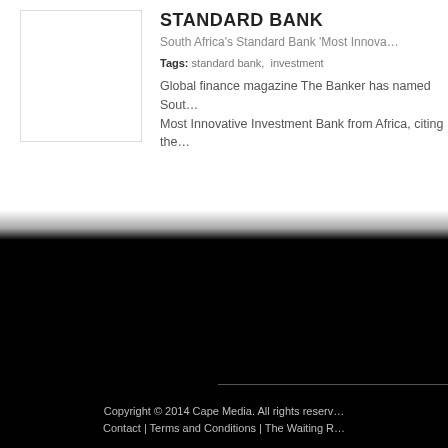[Figure (photo): White rectangular image placeholder for Standard Bank article thumbnail]
STANDARD BANK
South Africa's Standard Bank 'Most Innova…
Tags: standard bank, investment
Global finance magazine The Banker has named Sout… Most Innovative Investment Bank from Africa, citing the…
Copyright © 2014 Cape Media. All rights reserv… Contact | Terms and Conditions | The Waiting R…